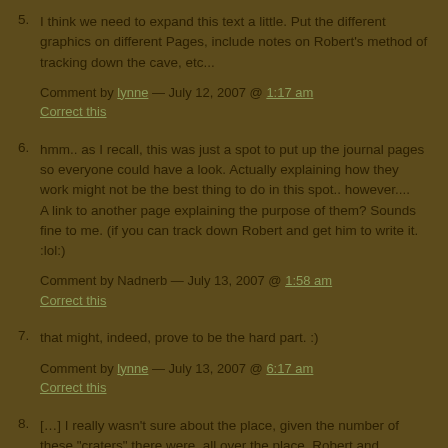5. I think we need to expand this text a little. Put the different graphics on different Pages, include notes on Robert's method of tracking down the cave, etc...
Comment by [lynne] — July 12, 2007 @ [link] | Correct this
6. hmm.. as I recall, this was just a spot to put up the journal pages so everyone could have a look. Actually explaining how they work might not be the best thing to do in this spot.. however....
A link to another page explaining the purpose of them? Sounds fine to me. (if you can track down Robert and get him to write it. :lol:)
Comment by Nadnerb — July 13, 2007 @ [link] | Correct this
7. that might, indeed, prove to be the hard part. :)
Comment by [lynne] — July 13, 2007 @ [link] | Correct this
8. [...] I really wasn't sure about the place, given the number of these "craters" there were, all over the place. Robert and Nadnerb didn't seem to have a problem, however, so I followed along. They